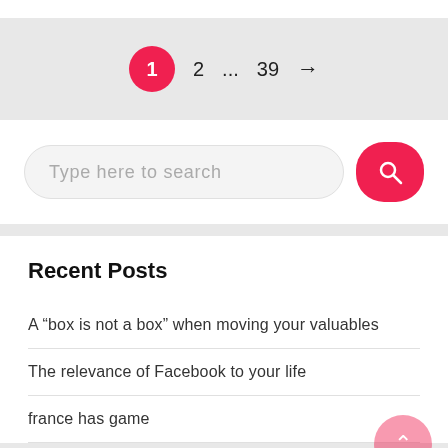[Figure (screenshot): Pagination control showing page 1 (highlighted in red circle), page 2, ellipsis, page 39, and a right arrow]
[Figure (screenshot): Search bar with placeholder text 'Type here to search' and a red rounded search button with magnifying glass icon]
Recent Posts
A “box is not a box” when moving your valuables
The relevance of Facebook to your life
france has game